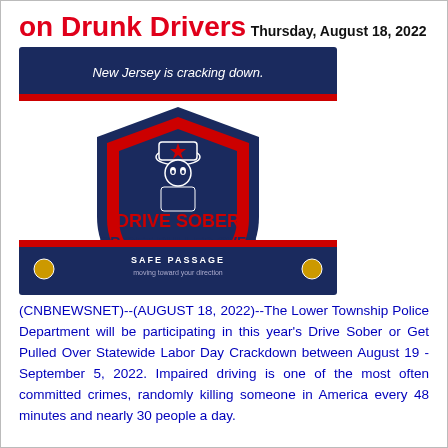on Drunk Drivers
Thursday, August 18, 2022
[Figure (illustration): Composite image showing 'New Jersey is cracking down.' banner, Drive Sober or Get Pulled Over logo with shield and police officer icon, and Safe Passage banner]
(CNBNEWSNET)--(AUGUST 18, 2022)--The Lower Township Police Department will be participating in this year's Drive Sober or Get Pulled Over Statewide Labor Day Crackdown between August 19 - September 5, 2022. Impaired driving is one of the most often committed crimes, randomly killing someone in America every 48 minutes and nearly 30 people a day.